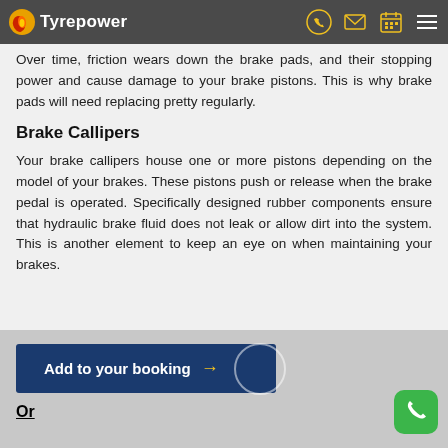Tyrepower
Over time, friction wears down the brake pads, and their stopping power and cause damage to your brake pistons. This is why brake pads will need replacing pretty regularly.
Brake Callipers
Your brake callipers house one or more pistons depending on the model of your brakes. These pistons push or release when the brake pedal is operated. Specifically designed rubber components ensure that hydraulic brake fluid does not leak or allow dirt into the system. This is another element to keep an eye on when maintaining your brakes.
Add to your booking
Or